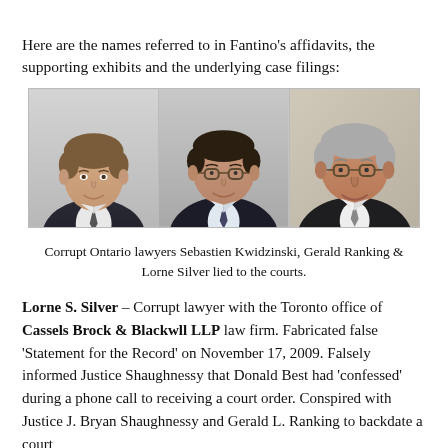Here are the names referred to in Fantino's affidavits, the supporting exhibits and the underlying case filings:
[Figure (photo): Three professional headshot photos side by side of Sebastien Kwidzinski, Gerald Ranking, and Lorne Silver — lawyers in dark suits against neutral backgrounds.]
Corrupt Ontario lawyers Sebastien Kwidzinski, Gerald Ranking & Lorne Silver lied to the courts.
Lorne S. Silver – Corrupt lawyer with the Toronto office of Cassels Brock & Blackwll LLP law firm. Fabricated false 'Statement for the Record' on November 17, 2009. Falsely informed Justice Shaughnessy that Donald Best had 'confessed' during a phone call to receiving a court order. Conspired with Justice J. Bryan Shaughnessy and Gerald L. Ranking to backdate a court